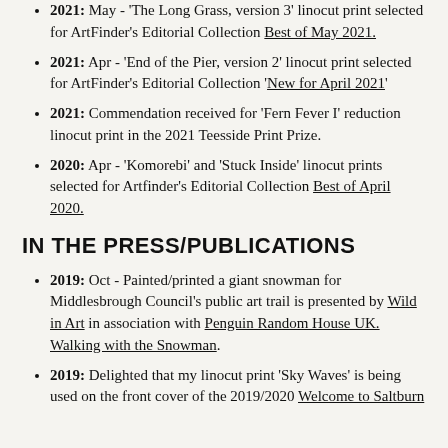2021: May - 'The Long Grass, version 3' linocut print selected for ArtFinder's Editorial Collection Best of May 2021.
2021: Apr - 'End of the Pier, version 2' linocut print selected for ArtFinder's Editorial Collection 'New for April 2021'
2021: Commendation received for 'Fern Fever I' reduction linocut print in the 2021 Teesside Print Prize.
2020: Apr - 'Komorebi' and 'Stuck Inside' linocut prints selected for Artfinder's Editorial Collection Best of April 2020.
IN THE PRESS/PUBLICATIONS
2019: Oct - Painted/printed a giant snowman for Middlesbrough Council's public art trail is presented by Wild in Art in association with Penguin Random House UK. Walking with the Snowman.
2019: Delighted that my linocut print 'Sky Waves' is being used on the front cover of the 2019/2020 Welcome to Saltburn